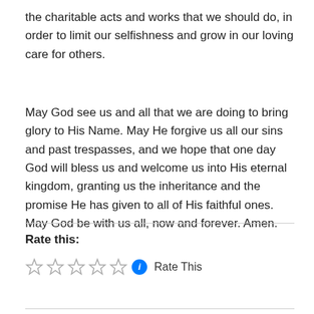the charitable acts and works that we should do, in order to limit our selfishness and grow in our loving care for others.
May God see us and all that we are doing to bring glory to His Name. May He forgive us all our sins and past trespasses, and we hope that one day God will bless us and welcome us into His eternal kingdom, granting us the inheritance and the promise He has given to all of His faithful ones. May God be with us all, now and forever. Amen.
Rate this:
Rate This